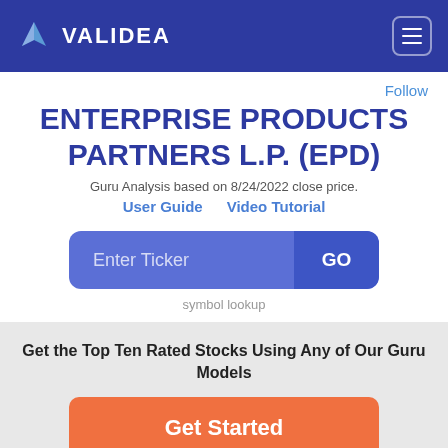VALIDEA
Follow
ENTERPRISE PRODUCTS PARTNERS L.P. (EPD)
Guru Analysis based on 8/24/2022 close price.
User Guide   Video Tutorial
Enter Ticker  GO
symbol lookup
Get the Top Ten Rated Stocks Using Any of Our Guru Models
Get Started